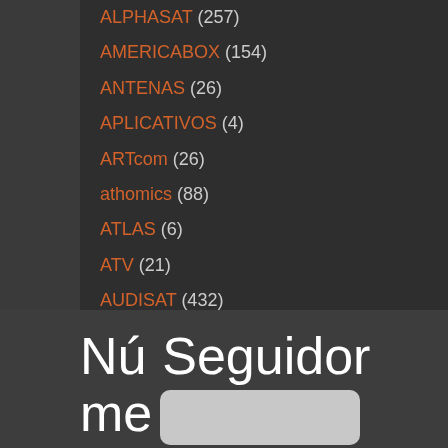ALPHASAT (257)
AMERICABOX (154)
ANTENAS (26)
APLICATIVOS (4)
ARTcom (26)
athomics (88)
ATLAS (6)
ATV (21)
AUDISAT (432)
Número de Seguidores